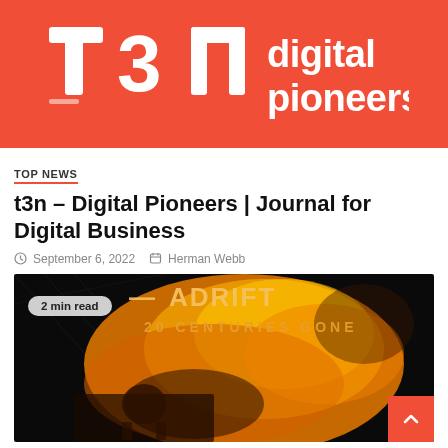[Figure (logo): t3n digital pioneers logo — white t3n logo mark and 'digital pioneers' text on red/coral background banner]
TOP NEWS
t3n – Digital Pioneers | Journal for Digital Business
September 6, 2022   Herman Webb
[Figure (photo): Article thumbnail image: dark background with orange/fire explosion art, text reading 'ADRIFT 20 CENTURIES GONE', with a '2 min read' badge overlay and orange scroll-to-top button]